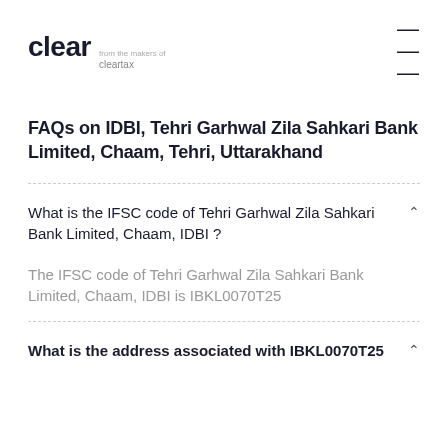clear from the makers of cleartax
FAQs on IDBI, Tehri Garhwal Zila Sahkari Bank Limited, Chaam, Tehri, Uttarakhand
What is the IFSC code of Tehri Garhwal Zila Sahkari Bank Limited, Chaam, IDBI ?
The IFSC code of Tehri Garhwal Zila Sahkari Bank Limited, Chaam, IDBI is IBKL0070T25
What is the address associated with IBKL0070T25